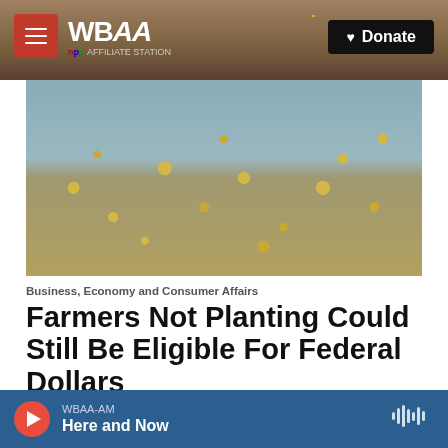WBAA | Donate
[Figure (photo): Close-up photo of yellow corn kernels scattered on a gray surface]
Business, Economy and Consumer Affairs
Farmers Not Planting Could Still Be Eligible For Federal Dollars
June 10, 2019
Farmers who claim preventative plant coverage on their crops likely won't be getting aid from President Trump's tariff payments.Preventative plant…
WBAA-AM Here and Now